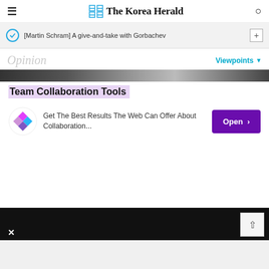The Korea Herald
[Martin Schram] A give-and-take with Gorbachev
Opinion
Viewpoints
[Figure (photo): Partial photo strip showing people, cropped at top]
[Figure (infographic): Advertisement for Team Collaboration Tools with logo, text 'Get The Best Results The Web Can Offer About Collaboration...' and purple Open button]